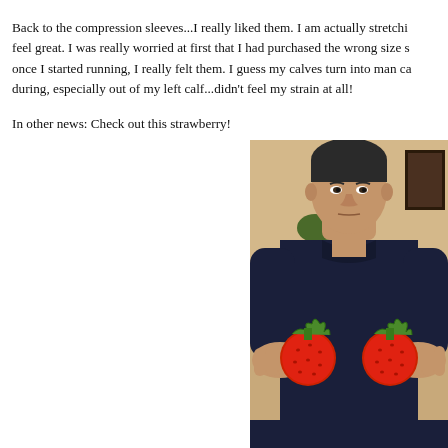Back to the compression sleeves...I really liked them. I am actually stretchi... feel great. I was really worried at first that I had purchased the wrong size s... once I started running, I really felt them. I guess my calves turn into man ca... during, especially out of my left calf...didn't feel my strain at all!
In other news: Check out this strawberry!
[Figure (photo): A man in a dark navy t-shirt holding up two large red strawberries toward the camera, photographed indoors with a warm-toned background.]